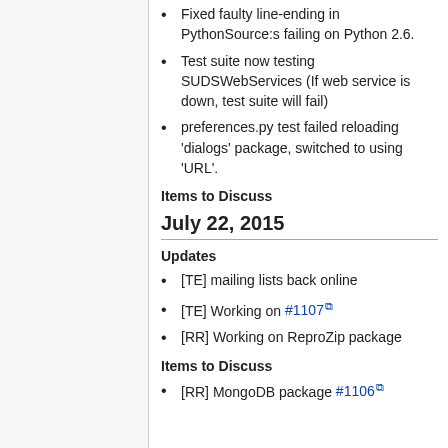Fixed faulty line-ending in PythonSource:s failing on Python 2.6.
Test suite now testing SUDSWebServices (If web service is down, test suite will fail)
preferences.py test failed reloading 'dialogs' package, switched to using 'URL'.
Items to Discuss
July 22, 2015
Updates
[TE] mailing lists back online
[TE] Working on #1107
[RR] Working on ReproZip package
Items to Discuss
[RR] MongoDB package #1106